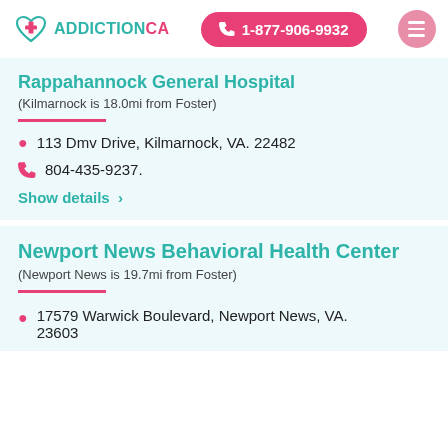ADDICTIONCA | 1-877-906-9932
Rappahannock General Hospital
(Kilmarnock is 18.0mi from Foster)
113 Dmv Drive, Kilmarnock, VA. 22482
804-435-9237.
Show details >
Newport News Behavioral Health Center
(Newport News is 19.7mi from Foster)
17579 Warwick Boulevard, Newport News, VA. 23603